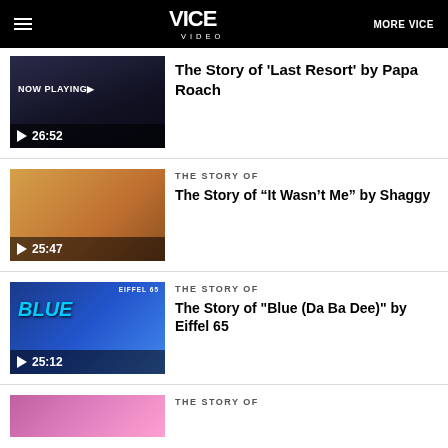VICE VIDEO | MORE VICE
[Figure (screenshot): Video thumbnail - The Story of Last Resort by Papa Roach, NOW PLAYING, duration 26:52]
The Story of 'Last Resort' by Papa Roach
THE STORY OF
[Figure (screenshot): Video thumbnail - The Story of It Wasn't Me by Shaggy, duration 25:47]
The Story of “It Wasn’t Me” by Shaggy
THE STORY OF
[Figure (screenshot): Video thumbnail - The Story of Blue (Da Ba Dee) by Eiffel 65, duration 25:12]
The Story of "Blue (Da Ba Dee)" by Eiffel 65
THE STORY OF
[Figure (screenshot): Video thumbnail - fourth video item, partially visible]